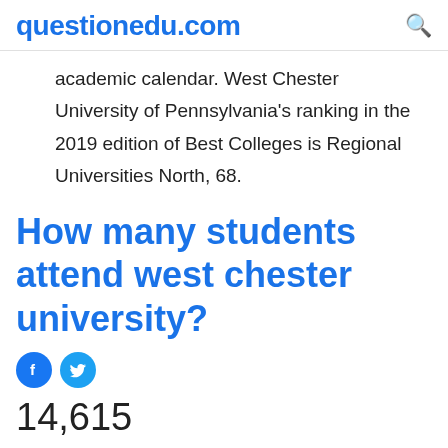questionedu.com
academic calendar. West Chester University of Pennsylvania's ranking in the 2019 edition of Best Colleges is Regional Universities North, 68.
How many students attend west chester university?
[Figure (other): Facebook and Twitter social share icons]
14,615
West Chester University of Pennsylvania has a total undergraduate enrollment of 14,615, with a